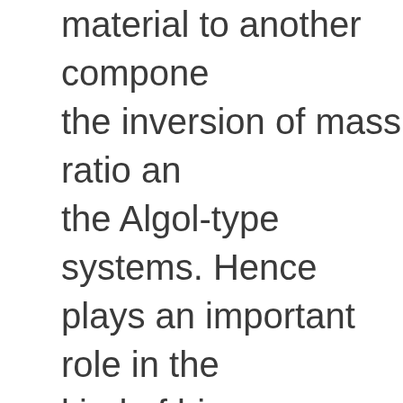material to another component, the inversion of mass ratio and the Algol-type systems. Hence plays an important role in the kind of binary system. A research team led by Prof. Q from the Yunnan Observatorie Academy of Sciences analyzed